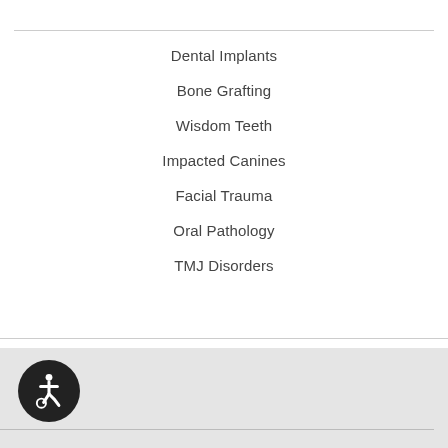Dental Implants
Bone Grafting
Wisdom Teeth
Impacted Canines
Facial Trauma
Oral Pathology
TMJ Disorders
[Figure (illustration): Accessibility icon (wheelchair symbol) in a dark circular button in the bottom-left footer area]